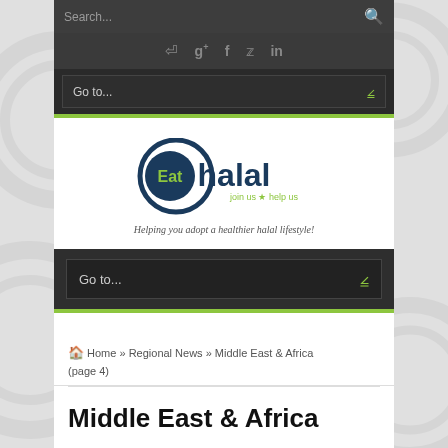[Figure (screenshot): Website screenshot of EatHalal.com showing search bar, social icons, navigation dropdown, logo with tagline, second navigation, breadcrumb trail, and page title]
Search...
[Figure (logo): EatHalal logo: circular dark teal ring with 'Eat' in green circle and 'halal' in dark teal text. Tagline: join us * help us. Below: Helping you adopt a healthier halal lifestyle!]
Go to...
Home » Regional News » Middle East & Africa (page 4)
Middle East & Africa